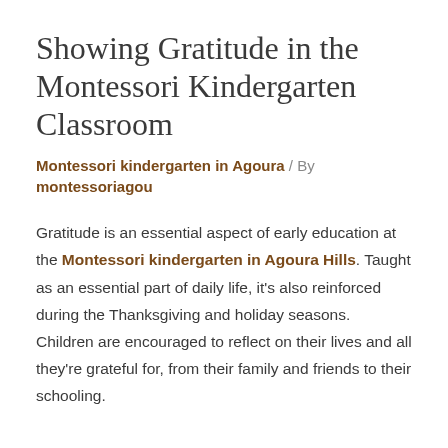Showing Gratitude in the Montessori Kindergarten Classroom
Montessori kindergarten in Agoura / By montessoriagou
Gratitude is an essential aspect of early education at the Montessori kindergarten in Agoura Hills. Taught as an essential part of daily life, it's also reinforced during the Thanksgiving and holiday seasons. Children are encouraged to reflect on their lives and all they're grateful for, from their family and friends to their schooling.